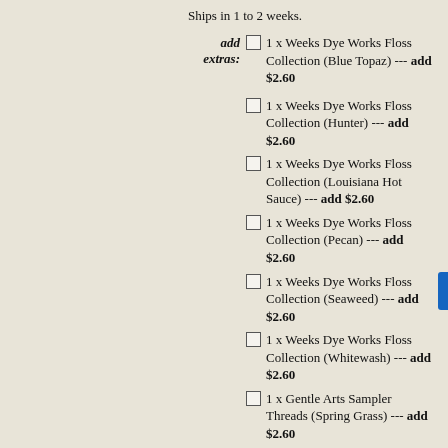Ships in 1 to 2 weeks.
add extras: 1 x Weeks Dye Works Floss Collection (Blue Topaz) --- add $2.60
1 x Weeks Dye Works Floss Collection (Hunter) --- add $2.60
1 x Weeks Dye Works Floss Collection (Louisiana Hot Sauce) --- add $2.60
1 x Weeks Dye Works Floss Collection (Pecan) --- add $2.60
1 x Weeks Dye Works Floss Collection (Seaweed) --- add $2.60
1 x Weeks Dye Works Floss Collection (Whitewash) --- add $2.60
1 x Gentle Arts Sampler Threads (Spring Grass) --- add $2.60
If the optional fiber/beads package is offered above and the designer has specified the quantities needed to complete the above item - all the necessary supplies are included. If the chart does not specify the amounts needed you will receive at least one package/skein/spool of the materials